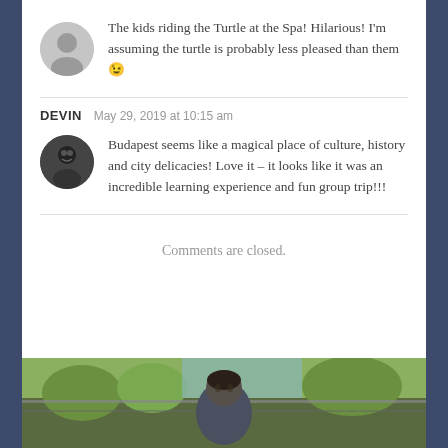The kids riding the Turtle at the Spa! Hilarious! I'm assuming the turtle is probably less pleased than them 😉
DEVIN  May 29, 2019 at 10:15 am
Budapest seems like a magical place of culture, history and city delicacies! Love it – it looks like it was an incredible learning experience and fun group trip!!!
Comments are closed.
[Figure (photo): Partial photo of a man's face outdoors with trees and blue sky in the background, appears to be near a railing or structure]